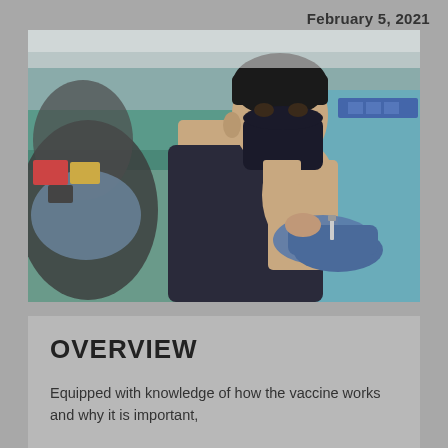February 5, 2021
[Figure (photo): A young man wearing a dark blue face mask and sleeveless shirt sits in a chair receiving a vaccine injection in his upper arm from a gloved healthcare worker. The setting appears to be a temporary vaccination clinic with teal/green fabric visible in the background.]
OVERVIEW
Equipped with knowledge of how the vaccine works and why it is important,